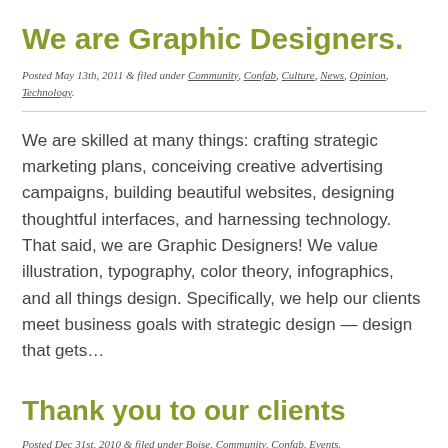We are Graphic Designers.
Posted May 13th, 2011 & filed under Community, Confab, Culture, News, Opinion, Technology.
We are skilled at many things: crafting strategic marketing plans, conceiving creative advertising campaigns, building beautiful websites, designing thoughtful interfaces, and harnessing technology. That said, we are Graphic Designers! We value illustration, typography, color theory, infographics, and all things design. Specifically, we help our clients meet business goals with strategic design — design that gets…
Thank you to our clients
Posted Dec 31st, 2010 & filed under Boise, Community, Confab, Events.